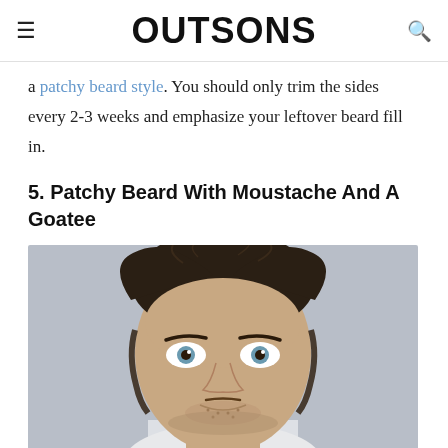OUTSONS
a patchy beard style. You should only trim the sides every 2-3 weeks and emphasize your leftover beard fill in.
5. Patchy Beard With Moustache And A Goatee
[Figure (photo): Close-up portrait of a young man with dark tousled hair, blue eyes, light stubble beard and moustache, against a grey background]